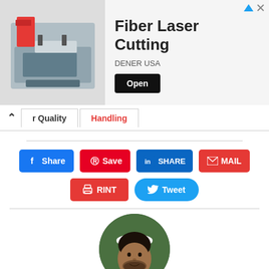[Figure (screenshot): Advertisement banner for Fiber Laser Cutting by DENER USA, with machine photo on the left, title text in center, and an Open button on the right]
[Figure (screenshot): Navigation tab bar showing 'r Quality' and 'Handling' tabs with a back arrow]
[Figure (screenshot): Social sharing buttons: Facebook Share, Pinterest Save, LinkedIn SHARE, EMAIL, PRINT, Tweet]
[Figure (photo): Circular avatar photo of a man wearing a white cap, outdoors with green background]